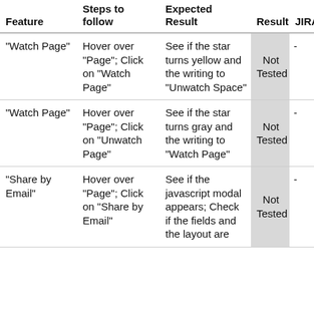| Feature | Steps to follow | Expected Result | Result | JIRA |
| --- | --- | --- | --- | --- |
| "Watch Page" | Hover over "Page"; Click on "Watch Page" | See if the star turns yellow and the writing to "Unwatch Space" | Not Tested | - |
| "Watch Page" | Hover over "Page"; Click on "Unwatch Page" | See if the star turns gray and the writing to "Watch Page" | Not Tested | - |
| "Share by Email" | Hover over "Page"; Click on "Share by Email" | See if the javascript modal appears; Check if the fields and the layout are... | Not Tested | - |